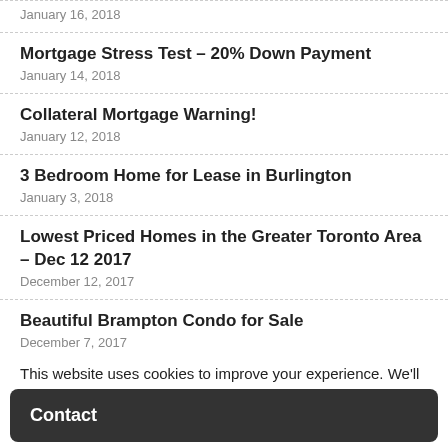January 16, 2018
Mortgage Stress Test – 20% Down Payment
January 14, 2018
Collateral Mortgage Warning!
January 12, 2018
3 Bedroom Home for Lease in Burlington
January 3, 2018
Lowest Priced Homes in the Greater Toronto Area – Dec 12 2017
December 12, 2017
Beautiful Brampton Condo for Sale
December 7, 2017
This website uses cookies to improve your experience. We'll
Contact